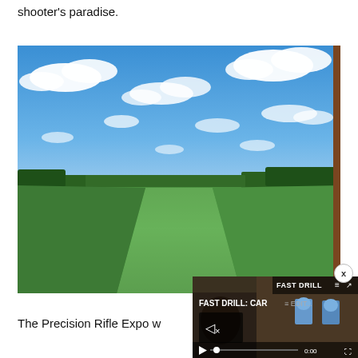shooter's paradise.
[Figure (photo): Outdoor landscape photograph showing a wide open green grass field under a partly cloudy blue sky, with tree lines visible along the distant horizon.]
[Figure (screenshot): Video player overlay showing a video titled 'FAST DRILL: CARBINE EDIT...' with a muted speaker icon, play button, progress bar at 0:00, and blue target silhouettes visible. A close (x) button is shown at the top right of the overlay.]
The Precision Rifle Expo w